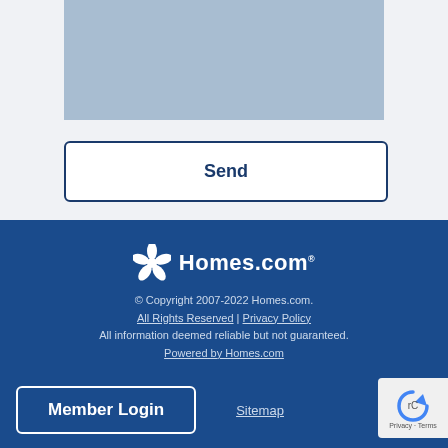[Figure (screenshot): Blue-gray image placeholder rectangle at top]
Send
[Figure (logo): Homes.com logo with pinwheel icon in white on dark blue footer]
© Copyright 2007-2022 Homes.com. All Rights Reserved | Privacy Policy All information deemed reliable but not guaranteed. Powered by Homes.com
Member Login
Sitemap